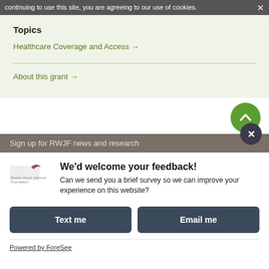continuing to use this site, you are agreeing to our use of cookies.
Topics
Healthcare Coverage and Access →
About this grant →
Sign up for RWJF news and research
We'd welcome your feedback! Can we send you a brief survey so we can improve your experience on this website?
Text me
Email me
Powered by ForeSee